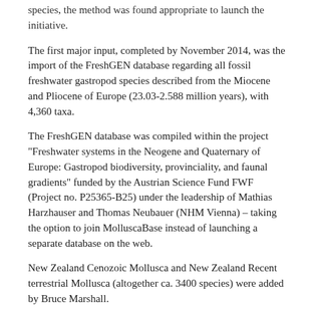species, the method was found appropriate to launch the initiative.
The first major input, completed by November 2014, was the import of the FreshGEN database regarding all fossil freshwater gastropod species described from the Miocene and Pliocene of Europe (23.03-2.588 million years), with 4,360 taxa.
The FreshGEN database was compiled within the project "Freshwater systems in the Neogene and Quaternary of Europe: Gastropod biodiversity, provinciality, and faunal gradients" funded by the Austrian Science Fund FWF (Project no. P25365-B25) under the leadership of Mathias Harzhauser and Thomas Neubauer (NHM Vienna) – taking the option to join MolluscaBase instead of launching a separate database on the web.
New Zealand Cenozoic Mollusca and New Zealand Recent terrestrial Mollusca (altogether ca. 3400 species) were added by Bruce Marshall.
The next scheduled upload regards the molluscan data of Fauna Europaea, curated by Ruud Bank and resulting from an EU funded project within the Fifth Framework Programme since March 2000. This covers all land and freshwater species of Europe. MolluscaBase will develop through the inputs of active taxonomic editors, following the successful model of WoRMS, and also seeks the collaboration of external data providers who are willing to provide large, structured